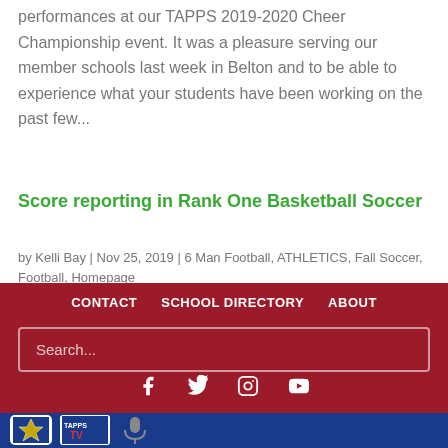performances at our TAPPS 2019-2020 Cheer Championship event. It was a pleasure serving our member schools last week in Belton and to be able to experience what your students have been working on the past few...
Score reporting in Rank One Basketball Soccer
by Kelli Bay | Nov 25, 2019 | 6 Man Football, ATHLETICS, Fall Soccer, Football, Homepage
CONTACT   SCHOOL DIRECTORY   ABOUT
Search...
[Figure (other): Social media icons: Facebook, Twitter, Instagram, YouTube]
[Figure (logo): Blue footer area with three logos: TAPPS star/football logo, TAPPS TV logo, microphone/podcast logo]